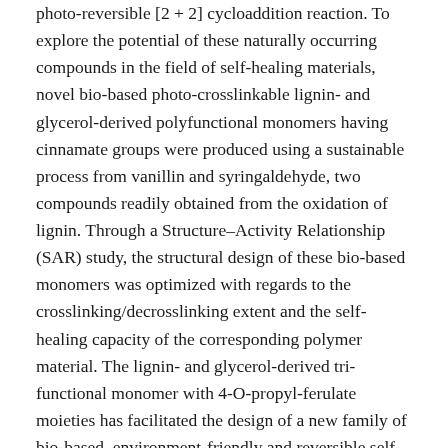photo-reversible [2 + 2] cycloaddition reaction. To explore the potential of these naturally occurring compounds in the field of self-healing materials, novel bio-based photo-crosslinkable lignin- and glycerol-derived polyfunctional monomers having cinnamate groups were produced using a sustainable process from vanillin and syringaldehyde, two compounds readily obtained from the oxidation of lignin. Through a Structure–Activity Relationship (SAR) study, the structural design of these bio-based monomers was optimized with regards to the crosslinking/decrosslinking extent and the self-healing capacity of the corresponding polymer material. The lignin- and glycerol-derived tri-functional monomer with 4-O-propyl-ferulate moieties has facilitated the design of a new family of bio-based, environment-friendly and reversible self-healing materials for widespread applications. Computational density-functional theory (DFT) and time-dependent DFT